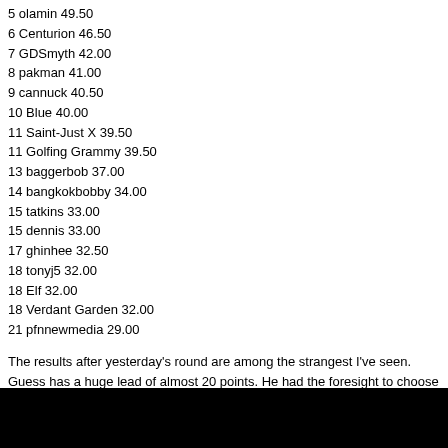5 olamin 49.50
6 Centurion 46.50
7 GDSmyth 42.00
8 pakman 41.00
9 cannuck 40.50
10 Blue 40.00
11 Saint-Just X 39.50
11 Golfing Grammy 39.50
13 baggerbob 37.00
14 bangkokbobby 34.00
15 tatkins 33.00
15 dennis 33.00
17 ghinhee 32.50
18 tonyj5 32.00
18 Elf 32.00
18 Verdant Garden 32.00
21 pfnnewmedia 29.00
The results after yesterday's round are among the strangest I've seen. Guess has a huge lead of almost 20 points. He had the foresight to choose both Ha Na Jang and Sakura Yokomine. Pfnnewmedia, despite only 10 picks, moved up to position no. 10.
Rank Contestant Points
1 Guess 60.25
2 IceCat 40.75